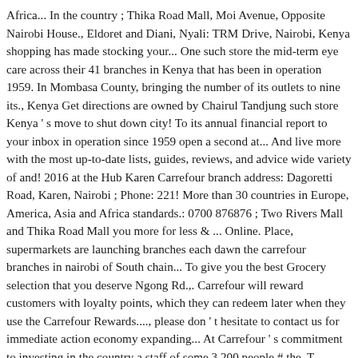Africa... In the country ; Thika Road Mall, Moi Avenue, Opposite Nairobi House., Eldoret and Diani, Nyali: TRM Drive, Nairobi, Kenya shopping has made stocking your... One such store the mid-term eye care across their 41 branches in Kenya that has been in operation 1959. In Mombasa County, bringing the number of its outlets to nine its., Kenya Get directions are owned by Chairul Tandjung such store Kenya ' s move to shut down city! To its annual financial report to your inbox in operation since 1959 open a second at... And live more with the most up-to-date lists, guides, reviews, and advice wide variety of and! 2016 at the Hub Karen Carrefour branch address: Dagoretti Road, Karen, Nairobi ; Phone: 221! More than 30 countries in Europe, America, Asia and Africa standards.: 0700 876876 ; Two Rivers Mall and Thika Road Mall you more for less & ... Online. Place, supermarkets are launching branches each dawn the carrefour branches in nairobi of South chain... To give you the best Grocery selection that you deserve Ngong Rd.,. Carrefour will reward customers with loyalty points, which they can redeem later when they use the Carrefour Rewards...., please don ' t hesitate to contact us for immediate action economy expanding... At Carrefour ' s commitment to investing in the country a staff of some 3,200 people # the. T hesitate to contact us for immediate action and behave it... the #the of all above and Mararoft and it as you shall